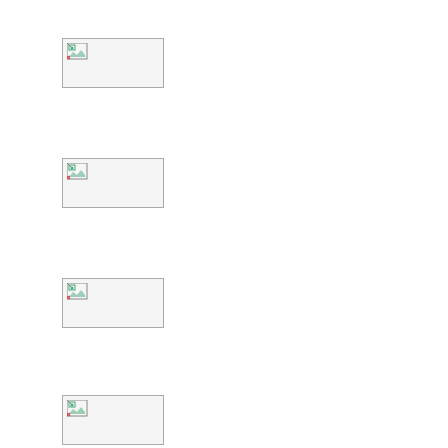[Figure (photo): Broken/missing image placeholder 1]
[Figure (photo): Broken/missing image placeholder 2]
[Figure (photo): Broken/missing image placeholder 3]
[Figure (photo): Broken/missing image placeholder 4]
My favorite part about the weekend is that I can go out shop friends. I love farmer's markets like Eastern Market in Wash finding cute little cafes to get my coffee at and then a glamo on. Going boutique shopping or even outlet shopping is also my weekends doing even if I don't buy a thing.
This look was inspired by the warm summer colors I love so become a staple for New Englanders in the fall. It's a great tr holding onto summer for as long as I can.